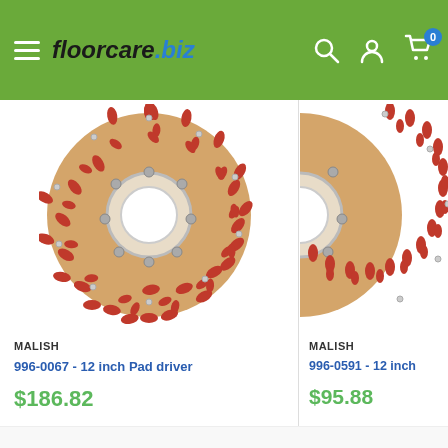floorcare.biz
[Figure (photo): Circular floor scrubbing pad driver brush with red bristles and wooden body, center hole, metal bolts — product 996-0067]
MALISH
996-0067 - 12 inch Pad driver
$186.82
[Figure (photo): Circular floor scrubbing pad driver brush with red bristles and wooden body, center hole, metal bolts — product 996-0591]
MALISH
996-0591 - 12 inch
$95.88